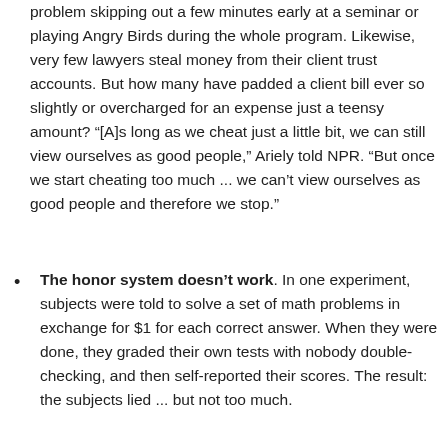problem skipping out a few minutes early at a seminar or playing Angry Birds during the whole program. Likewise, very few lawyers steal money from their client trust accounts. But how many have padded a client bill ever so slightly or overcharged for an expense just a teensy amount? “[A]s long as we cheat just a little bit, we can still view ourselves as good people,” Ariely told NPR. “But once we start cheating too much ... we can’t view ourselves as good people and therefore we stop.”
The honor system doesn’t work. In one experiment, subjects were told to solve a set of math problems in exchange for $1 for each correct answer. When they were done, they graded their own tests with nobody double-checking, and then self-reported their scores. The result: the subjects lied ... but not too much.